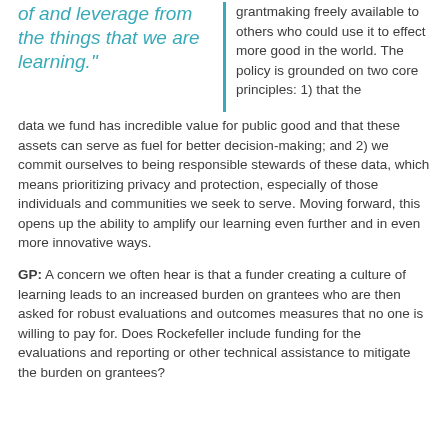of and leverage from the things that we are learning."
grantmaking freely available to others who could use it to effect more good in the world. The policy is grounded on two core principles: 1) that the data we fund has incredible value for public good and that these assets can serve as fuel for better decision-making; and 2) we commit ourselves to being responsible stewards of these data, which means prioritizing privacy and protection, especially of those individuals and communities we seek to serve. Moving forward, this opens up the ability to amplify our learning even further and in even more innovative ways.
GP: A concern we often hear is that a funder creating a culture of learning leads to an increased burden on grantees who are then asked for robust evaluations and outcomes measures that no one is willing to pay for. Does Rockefeller include funding for the evaluations and reporting or other technical assistance to mitigate the burden on grantees?